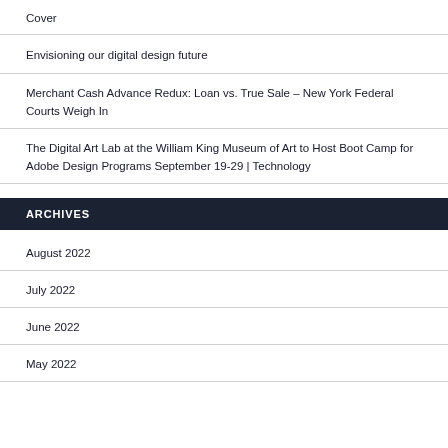Cover
Envisioning our digital design future
Merchant Cash Advance Redux: Loan vs. True Sale – New York Federal Courts Weigh In
The Digital Art Lab at the William King Museum of Art to Host Boot Camp for Adobe Design Programs September 19-29 | Technology
ARCHIVES
August 2022
July 2022
June 2022
May 2022